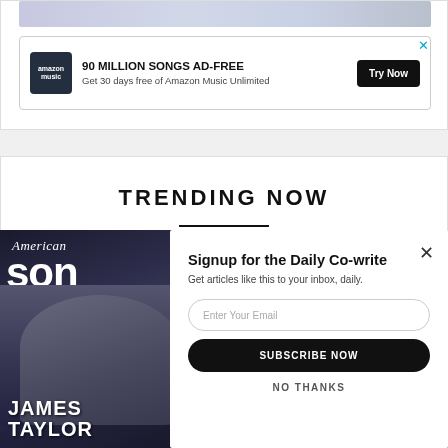[Figure (screenshot): Blurred banner image at top of page]
[Figure (screenshot): Amazon Music advertisement: '90 MILLION SONGS AD-FREE — Get 30 days free of Amazon Music Unlimited' with Try Now button]
TRENDING NOW
[Figure (screenshot): American Songwriter magazine cover featuring James Taylor]
Signup for the Daily Co-write
Get articles like this to your inbox, daily.
Enter Your Email
SUBSCRIBE NOW
NO THANKS